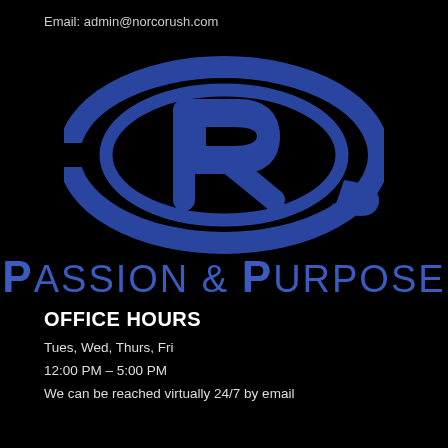Email: admin@norcorush.com
[Figure (logo): CR2 logo — a stylized letter R inside a swooping ellipse, dark blue on black background]
Passion & Purpose
OFFICE HOURS
Tues, Wed, Thurs, Fri
12:00 PM – 5:00 PM
We can be reached virtually 24/7 by email